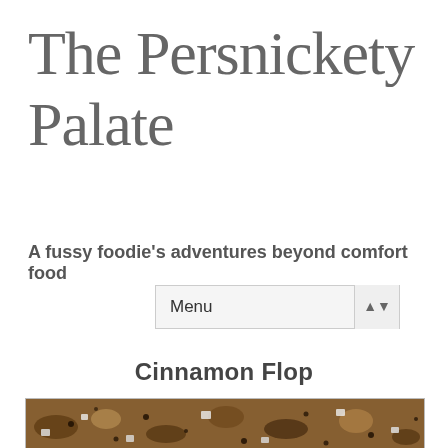The Persnickety Palate
A fussy foodie's adventures beyond comfort food
Menu
Cinnamon Flop
[Figure (photo): Close-up photo of Cinnamon Flop baked good with brown sugar cinnamon topping and white sugar chunks]